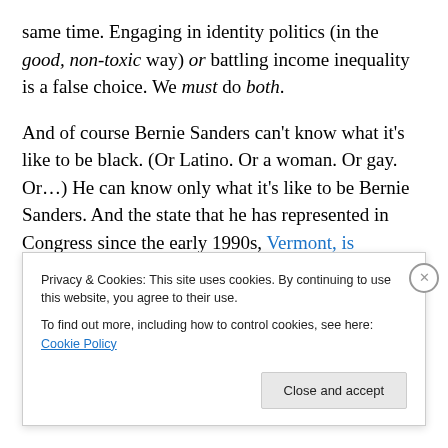same time. Engaging in identity politics (in the good, non-toxic way) or battling income inequality is a false choice. We must do both.
And of course Bernie Sanders can't know what it's like to be black. (Or Latino. Or a woman. Or gay. Or…) He can know only what it's like to be Bernie Sanders. And the state that he has represented in Congress since the early 1990s, Vermont, is overwhelmingly white, which is what it is.
[partially visible cut-off text]
Privacy & Cookies: This site uses cookies. By continuing to use this website, you agree to their use. To find out more, including how to control cookies, see here: Cookie Policy